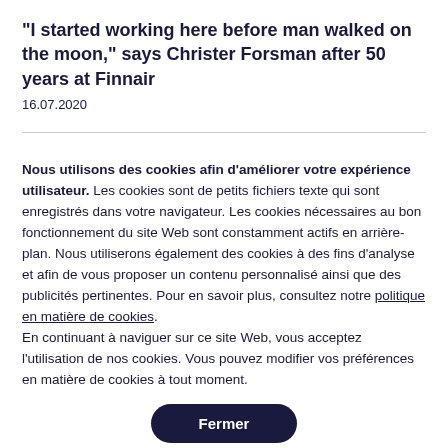“I started working here before man walked on the moon,” says Christer Forsman after 50 years at Finnair
16.07.2020
Nous utilisons des cookies afin d’améliorer votre expérience utilisateur. Les cookies sont de petits fichiers texte qui sont enregistrés dans votre navigateur. Les cookies nécessaires au bon fonctionnement du site Web sont constamment actifs en arrière-plan. Nous utiliserons également des cookies à des fins d’analyse et afin de vous proposer un contenu personnalisé ainsi que des publicités pertinentes. Pour en savoir plus, consultez notre politique en matière de cookies. En continuant à naviguer sur ce site Web, vous acceptez l’utilisation de nos cookies. Vous pouvez modifier vos préférences en matière de cookies à tout moment.
Fermer
Définir vos préférences en matière de cookies